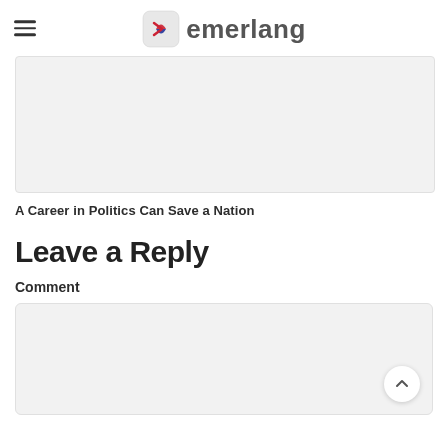emerlang
[Figure (other): Gray placeholder image rectangle]
A Career in Politics Can Save a Nation
Leave a Reply
Comment
[Figure (other): Comment text input box, gray background with scroll-to-top button]